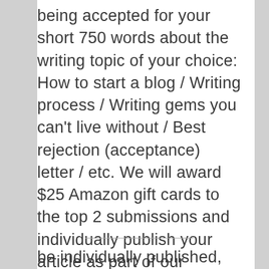being accepted for your short 750 words about the writing topic of your choice: How to start a blog / Writing process / Writing gems you can't live without / Best rejection (acceptance) letter / etc. We will award $25 Amazon gift cards to the top 2 submissions and individually publish your article as part of our scheduled Freelance Friday. 3rd place will also
be individually published, and receive a copy of